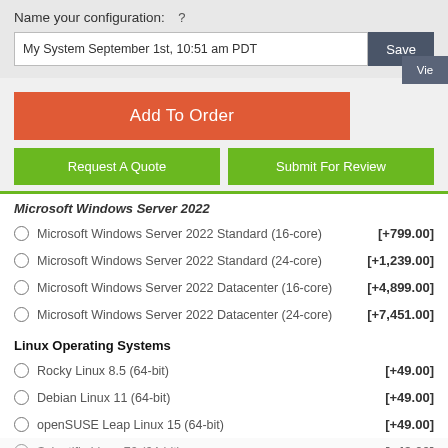Name your configuration:  ?
My System September 1st, 10:51 am PDT
Add To Order
Request A Quote
Submit For Review
Microsoft Windows Server 2022
Microsoft Windows Server 2022 Standard (16-core)  [+799.00]
Microsoft Windows Server 2022 Standard (24-core)  [+1,239.00]
Microsoft Windows Server 2022 Datacenter (16-core)  [+4,899.00]
Microsoft Windows Server 2022 Datacenter (24-core)  [+7,451.00]
Linux Operating Systems
Rocky Linux 8.5 (64-bit)  [+49.00]
Debian Linux 11 (64-bit)  [+49.00]
openSUSE Leap Linux 15 (64-bit)  [+49.00]
Scientific Linux 70 (64-bit)  [+49.00]